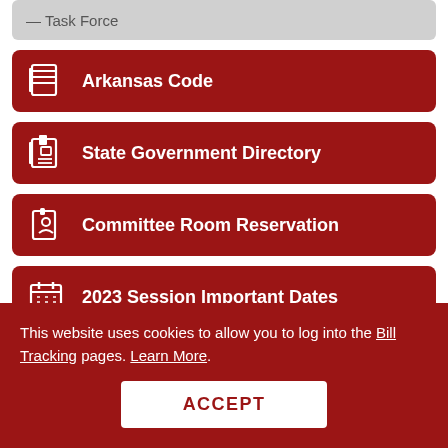Task Force
Arkansas Code
State Government Directory
Committee Room Reservation
2023 Session Important Dates
Session Documents
This website uses cookies to allow you to log into the Bill Tracking pages. Learn More.
ACCEPT